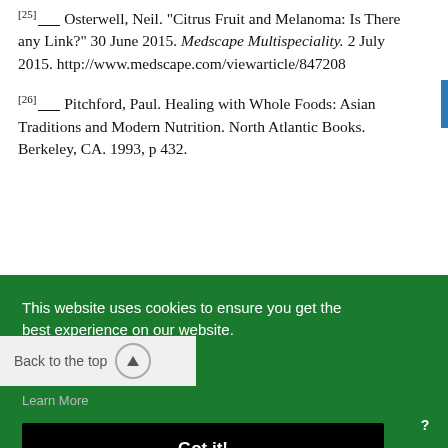[25] Osterwell, Neil. "Citrus Fruit and Melanoma: Is There any Link?" 30 June 2015. Medscape Multispeciality. 2 July 2015. http://www.medscape.com/viewarticle/847208
[26] Pitchford, Paul. Healing with Whole Foods: Asian Traditions and Modern Nutrition. North Atlantic Books. Berkeley, CA. 1993, p 432.
This website uses cookies to ensure you get the best experience on our website.
Got it!
Back to the top